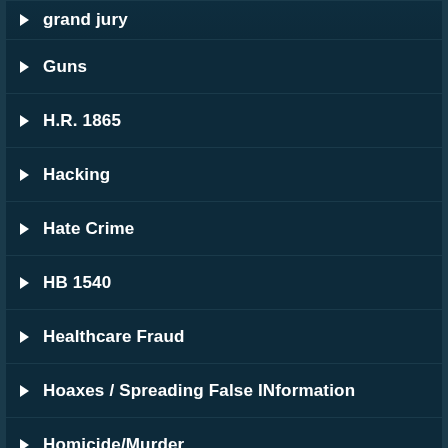grand jury
Guns
H.R. 1865
Hacking
Hate Crime
HB 1540
Healthcare Fraud
Hoaxes / Spreading False INformation
Homicide/Murder
Human Trafficking